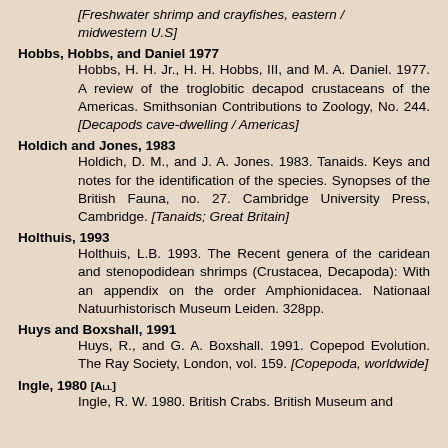[Freshwater shrimp and crayfishes, eastern / midwestern U.S]
Hobbs, Hobbs, and Daniel 1977
Hobbs, H. H. Jr., H. H. Hobbs, III, and M. A. Daniel. 1977. A review of the troglobitic decapod crustaceans of the Americas. Smithsonian Contributions to Zoology, No. 244. [Decapods cave-dwelling / Americas]
Holdich and Jones, 1983
Holdich, D. M., and J. A. Jones. 1983. Tanaids. Keys and notes for the identification of the species. Synopses of the British Fauna, no. 27. Cambridge University Press, Cambridge. [Tanaids; Great Britain]
Holthuis, 1993
Holthuis, L.B. 1993. The Recent genera of the caridean and stenopodidean shrimps (Crustacea, Decapoda): With an appendix on the order Amphionidacea. Nationaal Natuurhistorisch Museum Leiden. 328pp.
Huys and Boxshall, 1991
Huys, R., and G. A. Boxshall. 1991. Copepod Evolution. The Ray Society, London, vol. 159. [Copepoda, worldwide]
Ingle, 1980 [All]
Ingle, R. W. 1980. British Crabs. British Museum and